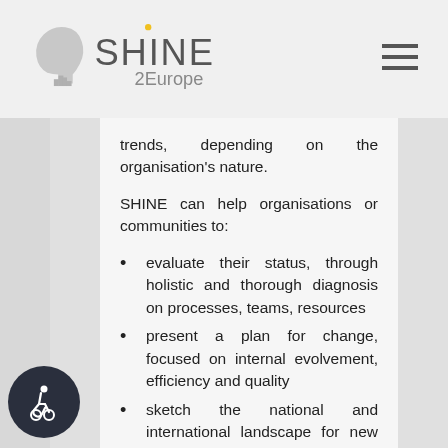[Figure (logo): SHINE 2Europe logo with stylized head silhouette and city skyline]
trends, depending on the organisation's nature.
SHINE can help organisations or communities to:
evaluate their status, through holistic and thorough diagnosis on processes, teams, resources
present a plan for change, focused on internal evolvement, efficiency and quality
sketch the national and international landscape for new opportunities